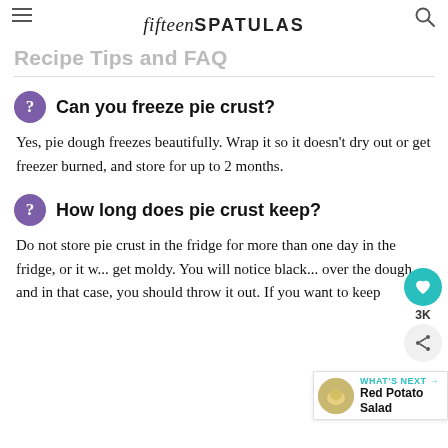fifteenSPATULAS
Recipe Tips and FAQ
Can you freeze pie crust?
Yes, pie dough freezes beautifully. Wrap it so it doesn't dry out or get freezer burned, and store for up to 2 months.
How long does pie crust keep?
Do not store pie crust in the fridge for more than one day in the fridge, or it w... get moldy. You will notice black... over the dough, and in that case, you should throw it out. If you want to keep